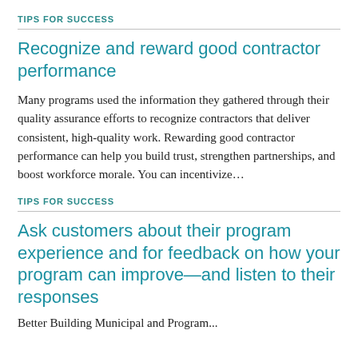TIPS FOR SUCCESS
Recognize and reward good contractor performance
Many programs used the information they gathered through their quality assurance efforts to recognize contractors that deliver consistent, high-quality work. Rewarding good contractor performance can help you build trust, strengthen partnerships, and boost workforce morale. You can incentivize…
TIPS FOR SUCCESS
Ask customers about their program experience and for feedback on how your program can improve—and listen to their responses
Better Building Municipal and Program...